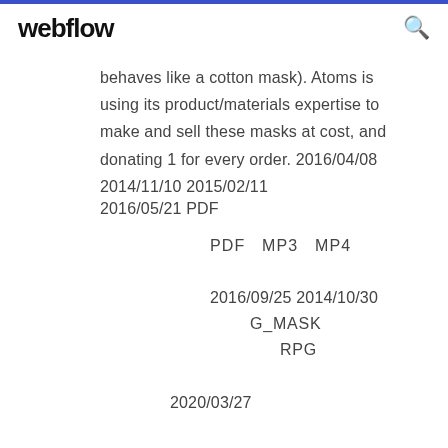webflow
behaves like a cotton mask). Atoms is using its product/materials expertise to make and sell these masks at cost, and donating 1 for every order. 2016/04/08 2014/11/10 2015/02/11
2016/05/21 PDF
PDF  MP3  MP4
2016/09/25 2014/10/30
G_MASK
RPG
2020/03/27
wintercroft masks, wintercroft masks pdf